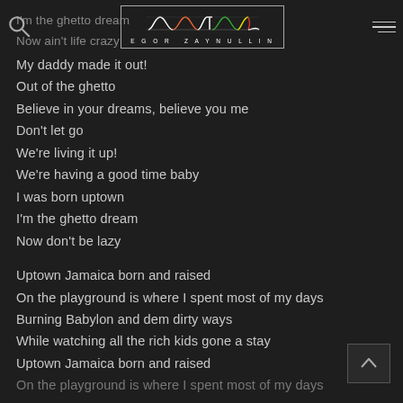RASTAGOR | EGOR ZAYNULLIN
I'm the ghetto dream
Now ain't life crazy
My daddy made it out!
Out of the ghetto
Believe in your dreams, believe you me
Don't let go
We're living it up!
We're having a good time baby
I was born uptown
I'm the ghetto dream
Now don't be lazy
Uptown Jamaica born and raised
On the playground is where I spent most of my days
Burning Babylon and dem dirty ways
While watching all the rich kids gone a stay
Uptown Jamaica born and raised
On the playground is where I spent most of my days